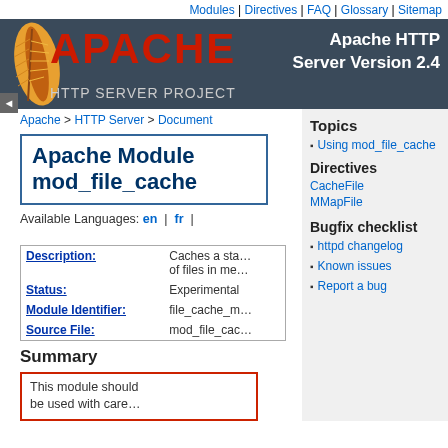Modules | Directives | FAQ | Glossary | Sitemap
[Figure (logo): Apache HTTP Server Project logo with feather and red APACHE text on dark blue banner, Apache HTTP Server Version 2.4]
Apache > HTTP Server > Document
Apache Module mod_file_cache
Available Languages: en | fr | ko
| Field | Value |
| --- | --- |
| Description: | Caches a static list of files in memory |
| Status: | Experimental |
| Module Identifier: | file_cache_module |
| Source File: | mod_file_cache.c |
Summary
This module should be used with care.
Topics
Using mod_file_cache
Directives
CacheFile
MMapFile
Bugfix checklist
httpd changelog
Known issues
Report a bug